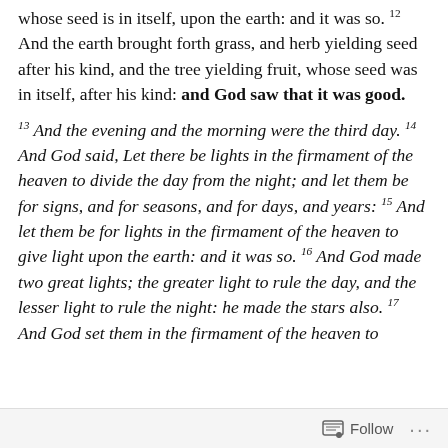whose seed is in itself, upon the earth: and it was so. 12 And the earth brought forth grass, and herb yielding seed after his kind, and the tree yielding fruit, whose seed was in itself, after his kind: and God saw that it was good.
13 And the evening and the morning were the third day. 14 And God said, Let there be lights in the firmament of the heaven to divide the day from the night; and let them be for signs, and for seasons, and for days, and years: 15 And let them be for lights in the firmament of the heaven to give light upon the earth: and it was so. 16 And God made two great lights; the greater light to rule the day, and the lesser light to rule the night: he made the stars also. 17 And God set them in the firmament of the heaven to
Follow ···